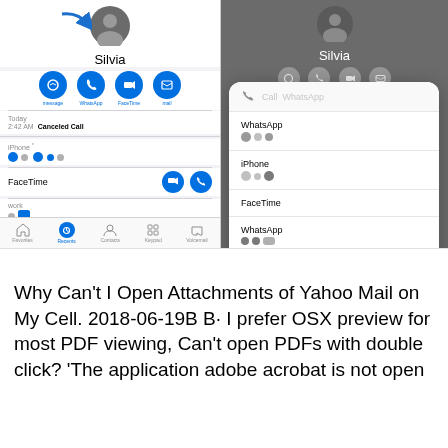[Figure (screenshot): Two side-by-side iOS phone screenshots showing a contact named Silvia with action icons (message, WhatsApp, FaceTime, mail), call log showing 'Today 2:42 AM Canceled Call', contact details including iPhone, FaceTime, work, home, Ringtone (Emergency Bypass On). Right screenshot shows a modal with options: Call WhatsApp, WhatsApp, iPhone, FaceTime, WhatsApp, and a Cancel button.]
Why Can't I Open Attachments of Yahoo Mail on My Cell. 2018-06-19B B· I prefer OSX preview for most PDF viewing, Can't open PDFs with double click? 'The application adobe acrobat is not open